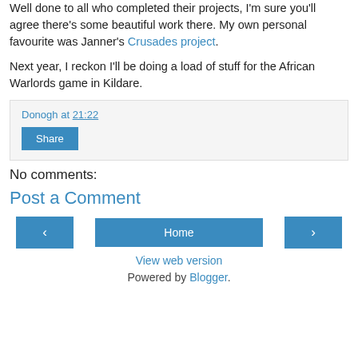Well done to all who completed their projects, I'm sure you'll agree there's some beautiful work there. My own personal favourite was Janner's Crusades project.
Next year, I reckon I'll be doing a load of stuff for the African Warlords game in Kildare.
Donogh at 21:22
Share
No comments:
Post a Comment
‹
Home
›
View web version
Powered by Blogger.